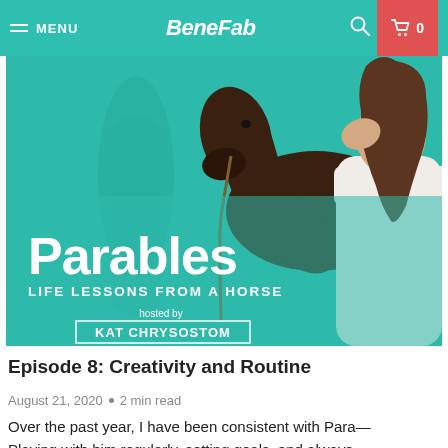MENU | BeneFab | 0
[Figure (photo): Photo of a woman in a white off-shoulder top kissing/nuzzling a dark brown horse. Teal/green background with overlaid podcast branding: 'Parables — Life Lessons from a Horse, hosted by Kat Chrysostom']
Episode 8: Creativity and Routine
August 21, 2020 • 2 min read
Over the past year, I have been consistent with Para—Playing with him regularly, setting goals, and always